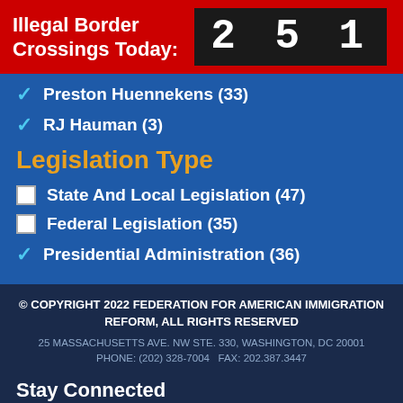Illegal Border Crossings Today: 251
✓ Preston Huennekens (33)
✓ RJ Hauman (3)
Legislation Type
☐ State And Local Legislation (47)
☐ Federal Legislation (35)
✓ Presidential Administration (36)
© COPYRIGHT 2022 FEDERATION FOR AMERICAN IMMIGRATION REFORM, ALL RIGHTS RESERVED
25 MASSACHUSETTS AVE. NW STE. 330, WASHINGTON, DC 20001
PHONE: (202) 328-7004   FAX: 202.387.3447
Stay Connected